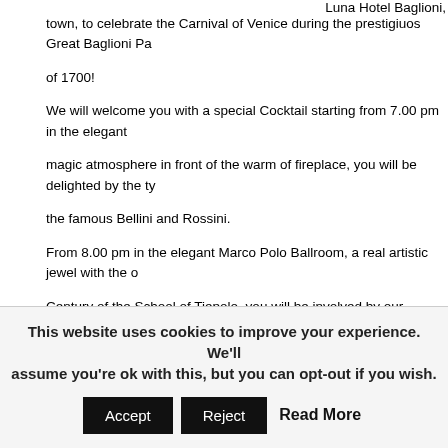Luna Hotel Baglioni,
town, to celebrate the Carnival of Venice during the prestigiuos Great Baglioni Pa of 1700! We will welcome you with a special Cocktail starting from 7.00 pm in the elegant magic atmosphere in front of the warm of fireplace, you will be delighted by the ty the famous Bellini and Rossini. From 8.00 pm in the elegant Marco Polo Ballroom, a real artistic jewel with the o Century of the School of Tiepolo, you will be involved by our Masters of Minuetto Carnival Artists and new friends… And don't miss to parade your Venetian Carni Masks in this marvellous setting! Our Chef Cosimo will attempt your palates by a special Carnival Dinner and the b delicacies: Frittelle and Galani as much you wish! Our Carnival Artists will amuse you with their funny Carnival sketch during the ev continue with our Disk Jockey: International covers, rock, ball room and latin dan music …….to dance till late!! An unforgettable evening waiting for you at Luna Hotel Baglioni to experience the
Terms and Condition:
Dress Code: Carnival Costume (Costume d'Epoque or elegant dress with Mask a
Rate: 290.00 Euro per person (Vat and Wine from Canova Selection included).
This website uses cookies to improve your experience. We'll assume you're ok with this, but you can opt-out if you wish.
Accept
Reject
Read More